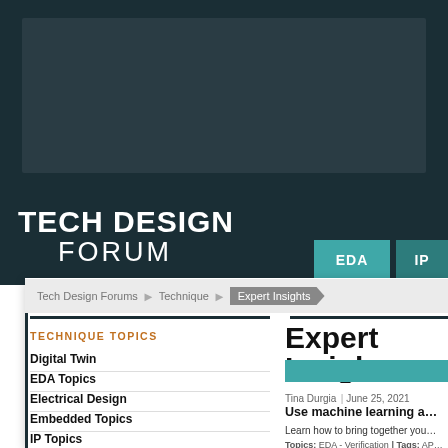[Figure (screenshot): Dark teal header banner background with ad placeholder area]
TECH DESIGN FORUM
EDA | IP
Tech Design Forums > Technique > Expert Insights
TECHNIQUE TOPICS
Digital Twin
EDA Topics
Electrical Design
Embedded Topics
IP Topics
Mechanical design
PCB Topics
Expert Insigh…
Tina Durgia | June 25, 2021
Use machine learning a…
Learn how to bring together you…
Topics: EDA - Verification | Tags: AP… delay, timing closure | Organizations…